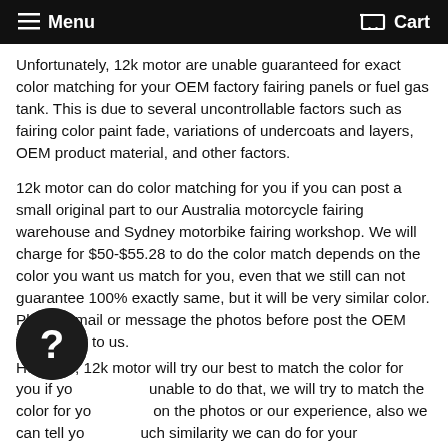Menu   Cart
Unfortunately, 12k motor are unable guaranteed for exact color matching for your OEM factory fairing panels or fuel gas tank. This is due to several uncontrollable factors such as fairing color paint fade, variations of undercoats and layers, OEM product material, and other factors.
12k motor can do color matching for you if you can post a small original part to our Australia motorcycle fairing warehouse and Sydney motorbike fairing workshop. We will charge for $50-$55.28 to do the color match depends on the color you want us match for you, even that we still can not guarantee 100% exactly same, but it will be very similar color. Please email or message the photos before post the OEM fairing part to us.
However, 12k motor will try our best to match the color for you if you are unable to do that, we will try to match the color for you based on the photos or our experience, also we can tell you how much similarity we can do for your motorcycle fairing kit order, compare to your original motorbike fairing color.
[Figure (other): Round dark help/chat button with question mark icon, positioned bottom-left]